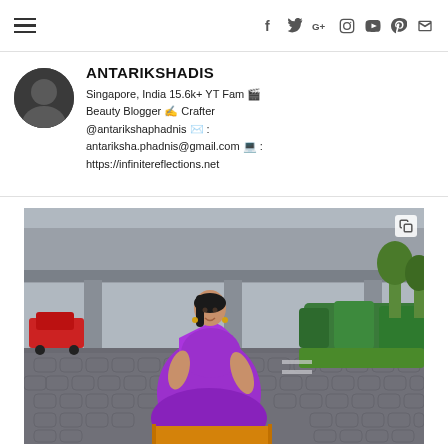Navigation bar with hamburger menu and social icons (f, Twitter, G+, Instagram, YouTube, Pinterest, Mail)
ANTARIKSHADIS
Singapore, India 15.6k+ YT Fam 🎬 Beauty Blogger ✍ Crafter @antarikshaphadnis ✉ : antariksha.phadnis@gmail.com 💻 : https://infinitereflections.net
[Figure (photo): Woman wearing a purple and orange silk saree standing on a cobblestone street with an elevated highway structure and greenery in the background. A red car is visible on the left.]